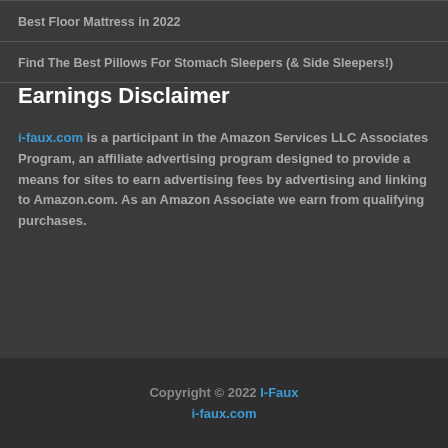Best Floor Mattress in 2022
Find The Best Pillows For Stomach Sleepers (& Side Sleepers!)
Earnings Disclaimer
i-faux.com is a participant in the Amazon Services LLC Associates Program, an affiliate advertising program designed to provide a means for sites to earn advertising fees by advertising and linking to Amazon.com. As an Amazon Associate we earn from qualifying purchases.
Copyright © 2022 I-Faux
i-faux.com